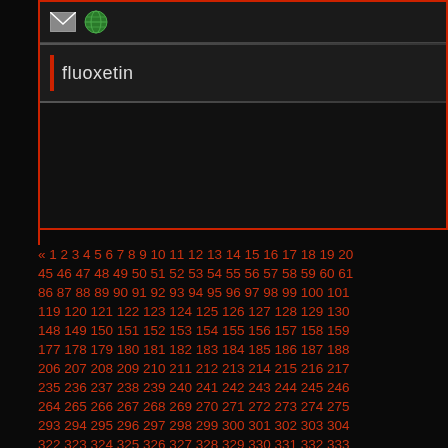[Figure (screenshot): Dark UI panel with mail and globe icons in toolbar row]
fluoxetin
« 1 2 3 4 5 6 7 8 9 10 11 12 13 14 15 16 17 18 19 20 45 46 47 48 49 50 51 52 53 54 55 56 57 58 59 60 61 86 87 88 89 90 91 92 93 94 95 96 97 98 99 100 101 119 120 121 122 123 124 125 126 127 128 129 130 148 149 150 151 152 153 154 155 156 157 158 159 177 178 179 180 181 182 183 184 185 186 187 188 206 207 208 209 210 211 212 213 214 215 216 217 235 236 237 238 239 240 241 242 243 244 245 246 264 265 266 267 268 269 270 271 272 273 274 275 293 294 295 296 297 298 299 300 301 302 303 304 322 323 324 325 326 327 328 329 330 331 332 333 351 352 353 354 355 356 357 358 359 360 361 362 380 381 382 383 384 385 386 387 388 389 390 391 409 410 411 412 413 414 415 416 417 418 419 420 438 439 440 441 442 443 444 445 446 447 448 449 467 468 469 470 471 472 473 474 475 476 477 478 496 497 498 499 500 501 502 503 504 505 506 507 525 526 527 528 529 530 531 532 533 534 535 536 554 555 556 557 558 559 560 561 562 563 564 565 583 584 585 586 587 588 589 590 591 592 593 594 612 613 614 615 616 617 618 619 620 621 622